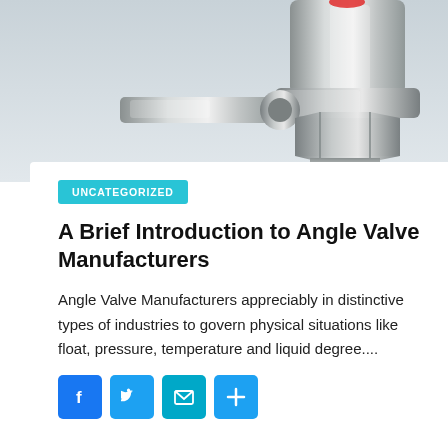[Figure (photo): Chrome angle valve / plumbing valve with threaded male fitting, shown against a light grey background]
UNCATEGORIZED
A Brief Introduction to Angle Valve Manufacturers
Angle Valve Manufacturers appreciably in distinctive types of industries to govern physical situations like float, pressure, temperature and liquid degree....
[Figure (infographic): Social share buttons: Facebook, Twitter, Email, Share (plus sign)]